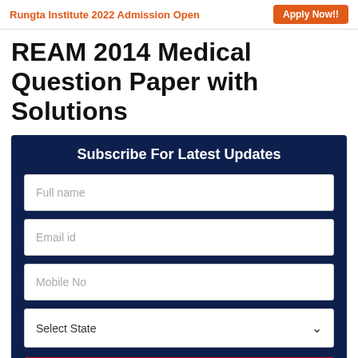Rungta Institute 2022 Admission Open  Apply Now!!
REAM 2014 Medical Question Paper with Solutions
Subscribe For Latest Updates
Full name
Email id
Mobile No
Select State
SUBSCRIBE